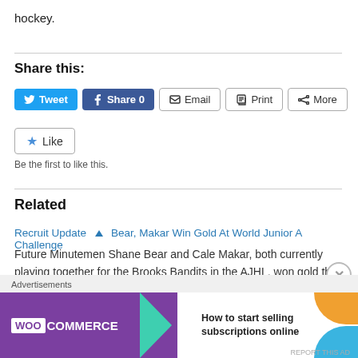hockey.
Share this:
[Figure (screenshot): Social sharing buttons: Tweet (Twitter, blue), Share 0 (Facebook, dark blue), Email (outline), Print (outline), More (outline)]
[Figure (screenshot): Like button with star icon]
Be the first to like this.
Related
Recruit Update ▲ Bear, Makar Win Gold At World Junior A Challenge
Future Minutemen Shane Bear and Cale Makar, both currently playing together for the Brooks Bandits in the AJHL, won gold this past week
[Figure (screenshot): WooCommerce advertisement banner: 'How to start selling subscriptions online']